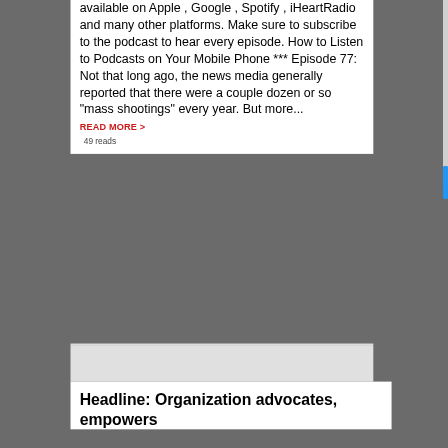available on Apple , Google , Spotify , iHeartRadio and many other platforms. Make sure to subscribe to the podcast to hear every episode. How to Listen to Podcasts on Your Mobile Phone *** Episode 77: Not that long ago, the news media generally reported that there were a couple dozen or so "mass shootings" every year. But more...
READ MORE >
49 reads
Headline: Organization advocates, empowers